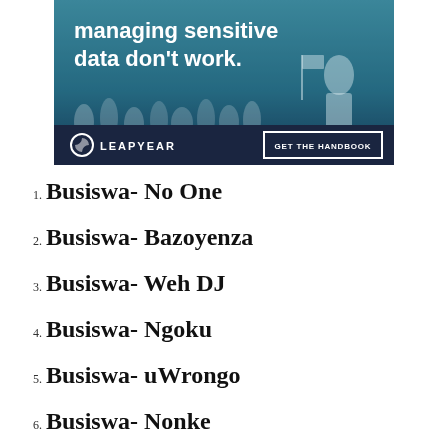[Figure (illustration): Advertisement banner for Leapyear featuring text 'managing sensitive data don't work.' over a teal/dark blue background with crowd silhouettes. Bottom bar shows Leapyear logo and a 'GET THE HANDBOOK' button.]
1. Busiswa- No One
2. Busiswa- Bazoyenza
3. Busiswa- Weh DJ
4. Busiswa- Ngoku
5. Busiswa- uWrongo
6. Busiswa- Nonke